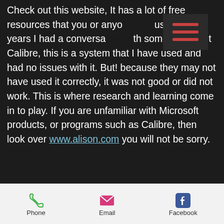Check out this website, It has a lot of free resources that you or anyone can use. A few years I had a conversation with someone about Calibre, this is a system that I have used and had no issues with it. But! because they may not have used it correctly, it was not good or did not work. This is where research and learning come in to play. If you are unfamiliar with Microsoft products, or programs such as Calibre, then look over www.alison.com you will not be sorry.
[Figure (screenshot): Dark overlay menu icon with three horizontal red/dark bars (hamburger menu) on dark background]
l always learning...
[Figure (illustration): White rounded square icon with a purple play/up triangle arrow inside]
As always, if you enjoyed this information...
Phone   Email   Facebook